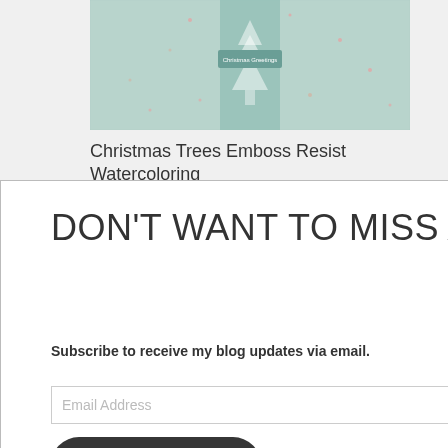[Figure (photo): A handmade Christmas card with mint green/teal tones featuring embossed Christmas trees and a 'Christmas Greetings' label with glitter/sparkle accents]
Christmas Trees Emboss Resist Watercoloring
July 13, 2022
In "Gallery"
ost - >
×
DON'T WANT TO MISS A THING?
Subscribe to receive my blog updates via email.
Email Address
Sign Me Up
1 at 8:52
the cat